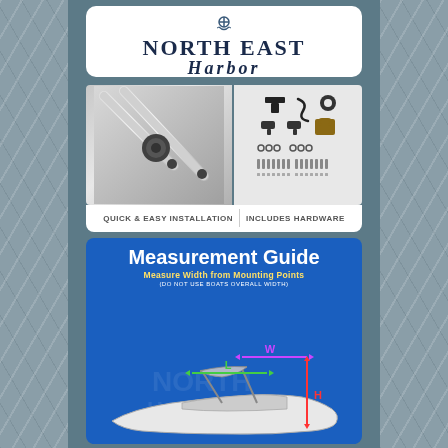[Figure (logo): North East Harbor brand logo with anchor icon and serif italic text]
[Figure (photo): Product photo showing bimini top poles and hardware components. Left panel shows angled aluminum poles with black connector joint. Right panel shows hardware kit including T-mounts, rope, lock, screws, bolts, and nuts. Bottom label reads: QUICK & EASY INSTALLATION | INCLUDES HARDWARE]
[Figure (infographic): Measurement Guide infographic on blue background. Title: Measurement Guide. Subtitle: Measure Width from Mounting Points (DO NOT USE BOATS OVERALL WIDTH). Diagram of a speedboat with three measurement arrows: W (width, purple, horizontal), L (length, green, horizontal), H (height, red, vertical) annotated on the boat.]